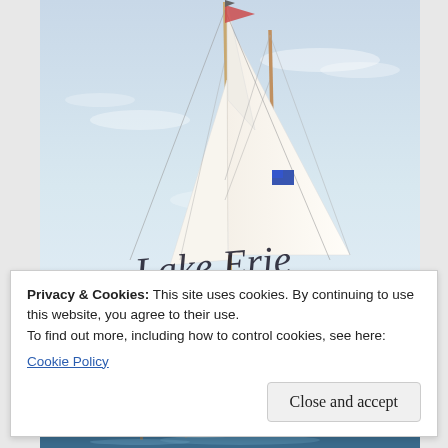[Figure (photo): A tall sailboat mast with sails and rigging against a light blue sky. Flags visible on the masts. Text 'Lake Erie' written in cursive script across the lower portion of the image.]
Privacy & Cookies: This site uses cookies. By continuing to use this website, you agree to their use.
To find out more, including how to control cookies, see here:
Cookie Policy
Close and accept
[Figure (photo): Bottom portion of another sailboat photo, partially visible, showing a boat on blue water.]